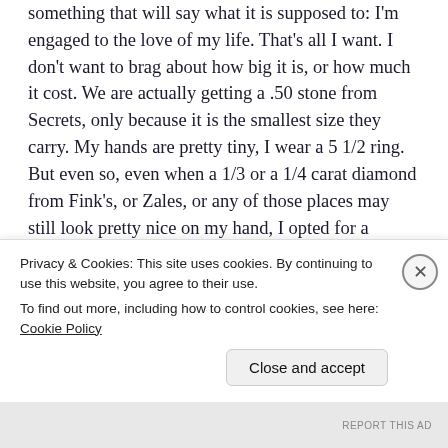something that will say what it is supposed to: I'm engaged to the love of my life. That's all I want. I don't want to brag about how big it is, or how much it cost. We are actually getting a .50 stone from Secrets, only because it is the smallest size they carry. My hands are pretty tiny, I wear a 5 1/2 ring. But even so, even when a 1/3 or a 1/4 carat diamond from Fink's, or Zales, or any of those places may still look pretty nice on my hand, I opted for a simulated one. Why? Because I've read about the blood
Privacy & Cookies: This site uses cookies. By continuing to use this website, you agree to their use.
To find out more, including how to control cookies, see here: Cookie Policy
Close and accept